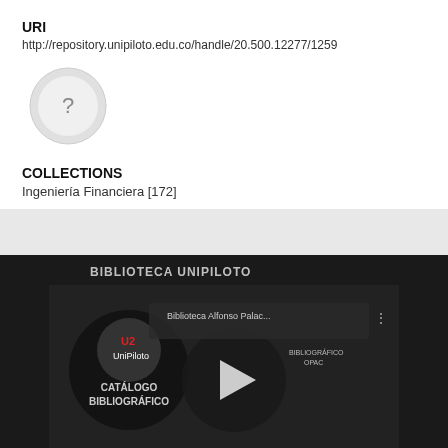URI
http://repository.unipiloto.edu.co/handle/20.500.12277/1259
[Figure (illustration): Circular avatar placeholder with a question mark in the center, light gray background]
COLLECTIONS
Ingeniería Financiera [172]
[Figure (screenshot): Dark section with BIBLIOTECA UNIPILOTO heading and a YouTube video thumbnail showing Biblioteca Alfonso Palac... with UniPiloto logo, play button, and CATÁLOGO BIBLIOGRÁFICO text overlay]